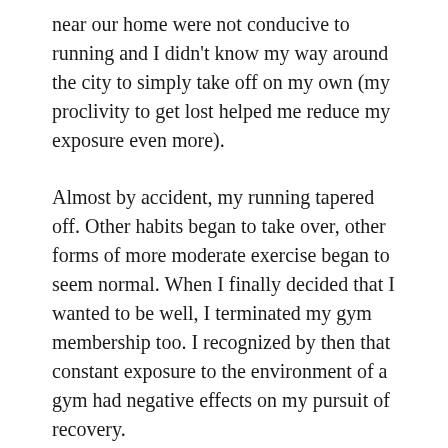near our home were not conducive to running and I didn't know my way around the city to simply take off on my own (my proclivity to get lost helped me reduce my exposure even more).
Almost by accident, my running tapered off. Other habits began to take over, other forms of more moderate exercise began to seem normal. When I finally decided that I wanted to be well, I terminated my gym membership too. I recognized by then that constant exposure to the environment of a gym had negative effects on my pursuit of recovery.
Exposure to healthy influences has helped my recovery in other ways, too. I notice an increased sense of freedom around all types of foods after spending a week with my sister. Her enjoyment of